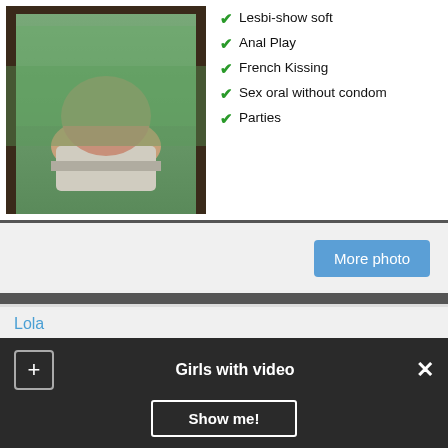[Figure (photo): Cropped photo showing lower torso of a person in white shorts standing by a window with green scenery outside]
Lesbi-show soft
Anal Play
French Kissing
Sex oral without condom
Parties
More photo
Lola
[Figure (photo): Photo of a young woman with long blonde/brunette hair, RUSALKI.CO watermark visible]
VIDEO WITH A GIRL
Age: 21
Height: 171 cm
Weight: 54 kg
Bust: B
1 Hour: 70$
Ass licking
Games
Girls with video
Show me!